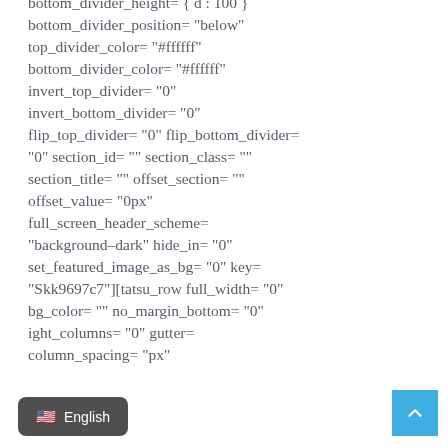bottom_divider_height= { d : 100 } bottom_divider_position= "below" top_divider_color= "#ffffff" bottom_divider_color= "#ffffff" invert_top_divider= "0" invert_bottom_divider= "0" flip_top_divider= "0" flip_bottom_divider= "0" section_id= "" section_class= "" section_title= "" offset_section= "" offset_value= "0px" full_screen_header_scheme= "background–dark" hide_in= "0" set_featured_image_as_bg= "0" key= "Skk9697c7"][tatsu_row full_width= "0" bg_color= "" no_margin_bottom= "0" ight_columns= "0" gutter= column_spacing= "px"
English